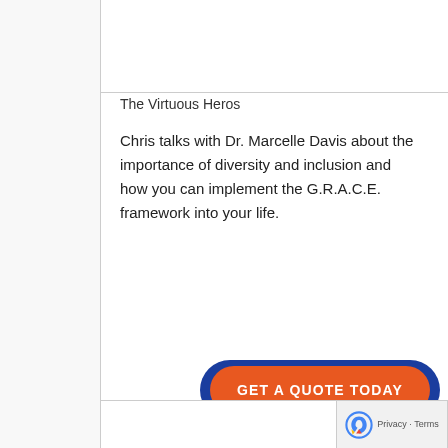EP. 74 “A TOUCH OF G.R.A.C.E.” W/ DR. MARCELLE DAVIS
by John Simpson | May 31, 2022 | Podcasts, The Virtuous Heros
Chris talks with Dr. Marcelle Davis about the importance of diversity and inclusion and how you can implement the G.R.A.C.E. framework into your life.
GET A QUOTE TODAY